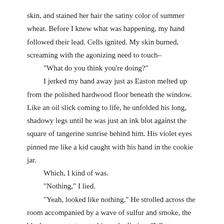skin, and stained her hair the satiny color of summer wheat. Before I knew what was happening, my hand followed their lead. Cells ignited. My skin burned, screaming with the agonizing need to touch–
	"What do you think you're doing?"
	I jerked my hand away just as Easton melted up from the polished hardwood floor beneath the window. Like an oil slick coming to life, he unfolded his long, shadowy legs until he was just an ink blot against the square of tangerine sunrise behind him. His violet eyes pinned me like a kid caught with his hand in the cookie jar.
	Which, I kind of was.
	"Nothing," I lied.
	"Yeah, looked like nothing." He strolled across the room accompanied by a wave of sulfur and smoke, the black serpent tattoo on his neck glinting. "What were you planning to do, recite her poem? I swear to God, if you were still alive I'd confiscate